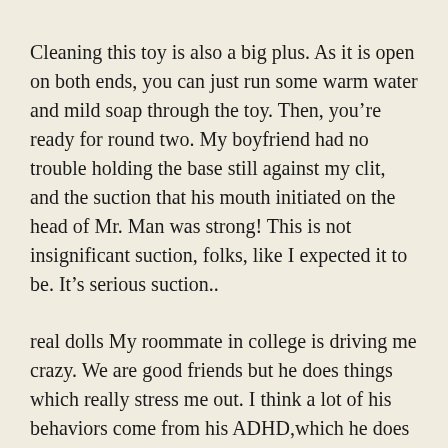Cleaning this toy is also a big plus. As it is open on both ends, you can just run some warm water and mild soap through the toy. Then, you’re ready for round two. My boyfriend had no trouble holding the base still against my clit, and the suction that his mouth initiated on the head of Mr. Man was strong! This is not insignificant suction, folks, like I expected it to be. It’s serious suction..
real dolls My roommate in college is driving me crazy. We are good friends but he does things which really stress me out. I think a lot of his behaviors come from his ADHD,which he does not take medicine for. One, in particular, I wound up ignoring most of the night. I was really into one of the other girls at the party, but struck out (as they say). Late in the evening, we struck up a